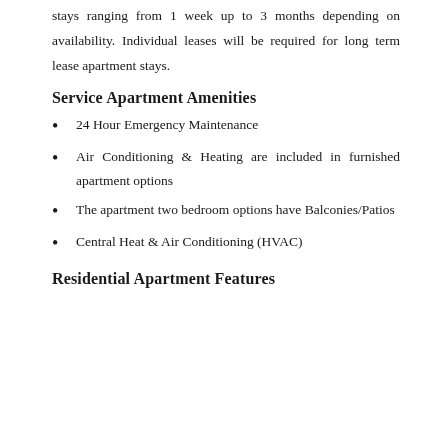stays ranging from 1 week up to 3 months depending on availability. Individual leases will be required for long term lease apartment stays.
Service Apartment Amenities
24 Hour Emergency Maintenance
Air Conditioning & Heating are included in furnished apartment options
The apartment two bedroom options have Balconies/Patios
Central Heat & Air Conditioning (HVAC)
Residential Apartment Features